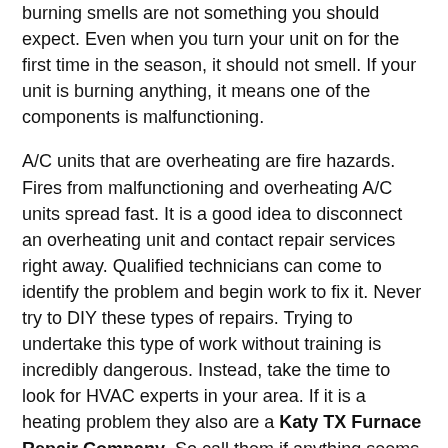burning smells are not something you should expect. Even when you turn your unit on for the first time in the season, it should not smell. If your unit is burning anything, it means one of the components is malfunctioning.
A/C units that are overheating are fire hazards. Fires from malfunctioning and overheating A/C units spread fast. It is a good idea to disconnect an overheating unit and contact repair services right away. Qualified technicians can come to identify the problem and begin work to fix it. Never try to DIY these types of repairs. Trying to undertake this type of work without training is incredibly dangerous. Instead, take the time to look for HVAC experts in your area. If it is a heating problem they also are a Katy TX Furnace Repair Company. So call them if anything seems off.
Residents of Katy, TX can contact Houston Admiral for their repair needs. Houston Admiral is the only company in the area that offers warranties on their services. You can also rely on Houston Admiral for 24/7 repair. Qualified